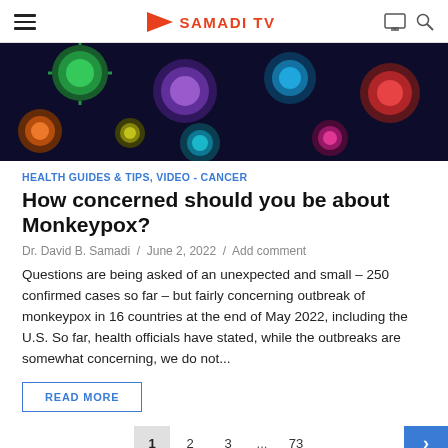SAMADI TV
[Figure (photo): Close-up colorful fluorescent virus particles on dark background]
HEALTH GUIDES & TIPS, VIDEO - CANCER
How concerned should you be about Monkeypox?
Dr. David B. Samadi / June 2, 2022 / Add comment
Questions are being asked of an unexpected and small – 250 confirmed cases so far – but fairly concerning outbreak of monkeypox in 16 countries at the end of May 2022, including the U.S. So far, health officials have stated, while the outbreaks are somewhat concerning, we do not...
READ MORE
1  2  3  ...  73  >